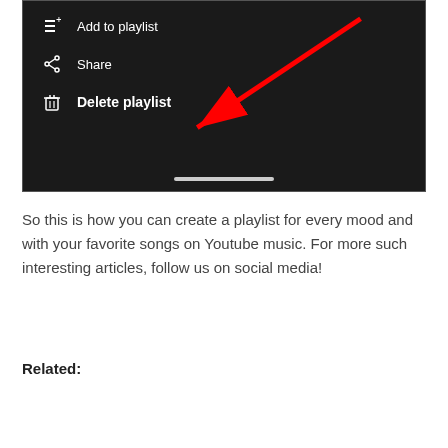[Figure (screenshot): Dark-themed mobile menu screenshot showing 'Add to playlist', 'Share', and 'Delete playlist' options with a red arrow pointing to 'Delete playlist']
So this is how you can create a playlist for every mood and with your favorite songs on Youtube music. For more such interesting articles, follow us on social media!
Related: